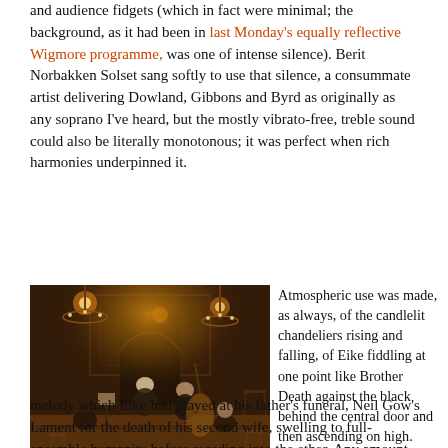and audience fidgets (which in fact were minimal; the background, as it had been in last Monday's equally reflective Wigmore programme, was one of intense silence). Berit Norbakken Solset sang softly to use that silence, a consummate artist delivering Dowland, Gibbons and Byrd as originally as any soprano I've heard, but the mostly vibrato-free, treble sound could also be literally monotonous; it was perfect when rich harmonies underpinned it.
[Figure (photo): A candlelit baroque hall with musicians seated in a circle on stage, playing period instruments. Chandeliers with candles hang from the ornate ceiling. The warm amber light illuminates the performers against a dark wood-panelled background.]
Atmospheric use was made, as always, of the candlelit chandeliers rising and falling, of Eike fiddling at one point like Brother Death against the black behind the central door and then ascending on high. And the last, as on the disc, was best: the same cathartic major melody which Eike had played at his father's funeral, Neil Gow's Lament for the death of his second wife, swelling to full-ensemble humanity before receding into the ether. Any amount of dolefulness could only make this epiphany the stronger. And yes, pace Dowland, my tears did